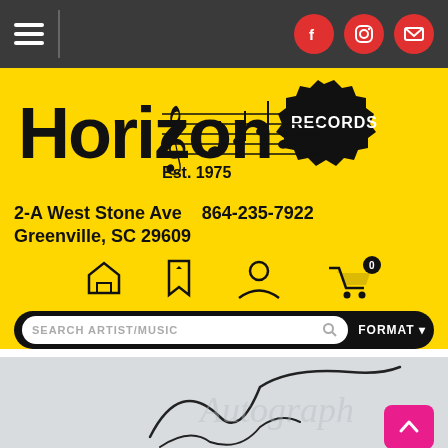Horizon Records — Navigation bar with hamburger menu and social icons (Facebook, Instagram, Email)
[Figure (logo): Horizon Records logo with musical staff, treble clef, and starburst 'Records' badge. Est. 1975. Address: 2-A West Stone Ave, Greenville, SC 29609. Phone: 864-235-7922.]
2-A West Stone Ave
Greenville, SC 29609   864-235-7922
[Figure (infographic): Navigation icon bar with house (home), bookmark (wishlist), person (account), and shopping cart with 0 badge icons]
SEARCH ARTIST/MUSIC   FORMAT
[Figure (photo): Partial view of an autographed item on light grey/blue background showing a dark signature/autograph]